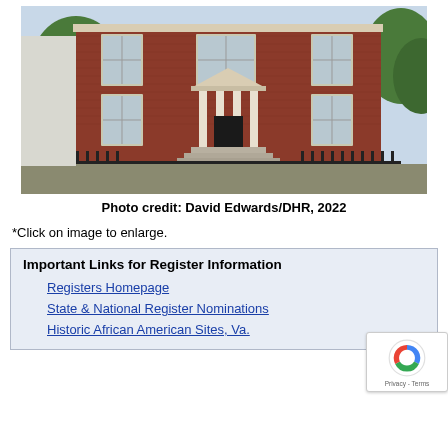[Figure (photo): Two-story red brick building with white-trimmed windows and a classical portico entrance with white columns and pediment. Iron fence in foreground, trees visible on sides.]
Photo credit: David Edwards/DHR, 2022
*Click on image to enlarge.
Important Links for Register Information
Registers Homepage
State & National Register Nominations
Historic African American Sites, Va.